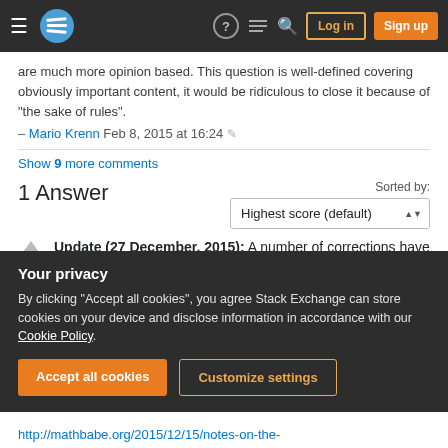Stack Exchange navigation bar with hamburger, logo, help, chat, search, Log in, Sign up buttons
are much more opinion based. This question is well-defined covering obviously important content, it would be ridiculous to close it because of "the sake of rules". – Mario Krenn Feb 8, 2015 at 16:24
Show 9 more comments
1 Answer
Sorted by: Highest score (default)
Update (27 December, 2015): A number of corrections have been made in the two linked PDF
Your privacy
By clicking "Accept all cookies", you agree Stack Exchange can store cookies on your device and disclose information in accordance with our Cookie Policy.
Accept all cookies    Customize settings
http://mathbabe.org/2015/12/15/notes-on-the-